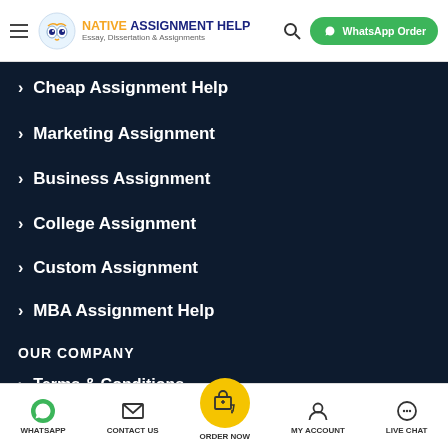NATIVE ASSIGNMENT HELP - Essay, Dissertation & Assignments | WhatsApp Order
Cheap Assignment Help
Marketing Assignment
Business Assignment
College Assignment
Custom Assignment
MBA Assignment Help
OUR COMPANY
Terms & Conditions
Privacy Policy
WHATSAPP | CONTACT US | ORDER NOW | MY ACCOUNT | LIVE CHAT